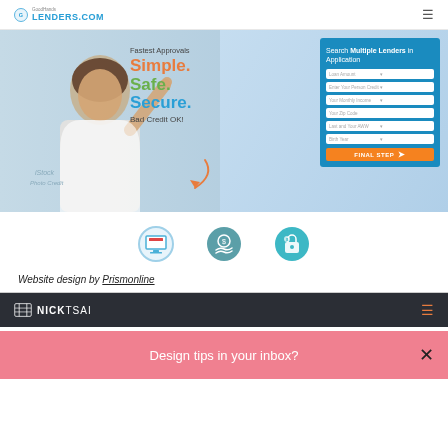[Figure (screenshot): GoodHands Lenders.com navigation bar with logo and hamburger menu]
[Figure (screenshot): Hero banner: woman pointing up, text Fastest Approvals Simple. Safe. Secure. Bad Credit OK!, blue form box with Search Multiple Lenders in Application fields and FINAL STEP button]
[Figure (screenshot): Row of three circular icons: web icon, finance icon, bag icon]
Website design by Prismonline
[Figure (screenshot): Nick Tsai dark navigation bar with logo and hamburger menu in orange]
Design tips in your inbox?